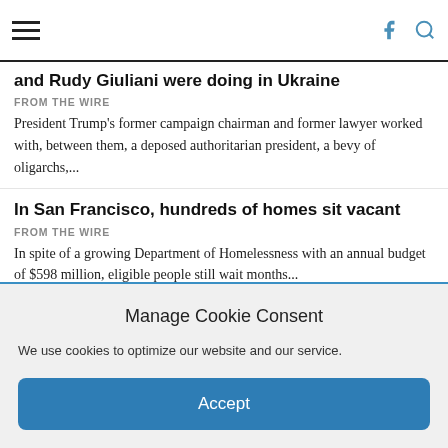Navigation bar with hamburger menu, Facebook icon, and search icon
and Rudy Giuliani were doing in Ukraine
FROM THE WIRE
President Trump's former campaign chairman and former lawyer worked with, between them, a deposed authoritarian president, a bevy of oligarchs,...
In San Francisco, hundreds of homes sit vacant
FROM THE WIRE
In spite of a growing Department of Homelessness with an annual budget of $598 million, eligible people still wait months...
Manage Cookie Consent
We use cookies to optimize our website and our service.
Accept